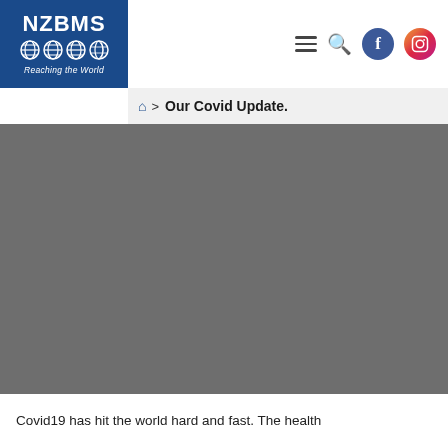[Figure (logo): NZBMS logo with globe icons and tagline 'Reaching the World' on blue background]
NZBMS | Reaching the World — navigation header with hamburger menu, search, Facebook and Instagram icons
Our Covid Update.
[Figure (photo): Large grey/dark image area (hero image placeholder)]
Covid19 has hit the world hard and fast. The health